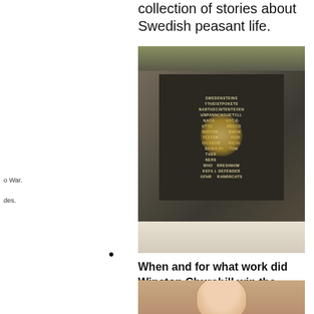collection of stories about Swedish peasant life.
[Figure (photo): Nobel Prize for Literature medal/plaque displayed in a glass case, dark background with embossed text, with a glowing golden figure in the center. Caption reads: "Churchill's Nobel Prize for Literature. This was awarded to him in 1953 for his mastery of historical and biographical description as well as for brilliant..."]
bullet point marker
When and for what work did Winston Churchill win the Nobel Prize in Literature? Winston Churchill won the Nobel Prize in Literature in 1953 for The Second World War.
[Figure (photo): Portrait photo of a person, partially visible at bottom of page.]